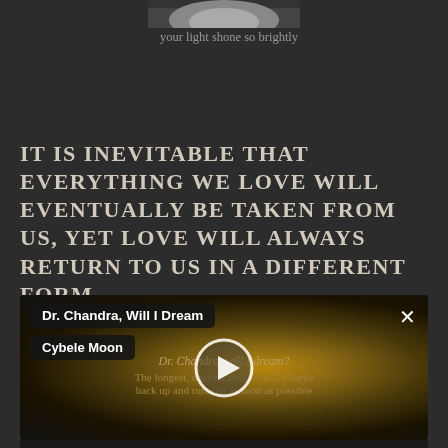[Figure (photo): Partial black and white photograph at the top, partially cropped]
your light shone so brightly
IT IS INEVITABLE THAT EVERYTHING WE LOVE WILL EVENTUALLY BE TAKEN FROM US, YET LOVE WILL ALWAYS RETURN TO US IN A DIFFERENT FORM
[Figure (screenshot): Video player screenshot showing 'Dr. Chandra, Will I Dream' by Cybele Moon with a play button overlay on a dark golden background. Italic text overlay reads: Dr. Chandra, will I dream? The longest, deepest sleep—A.C. Clarke. back up and running as soon as possible.]